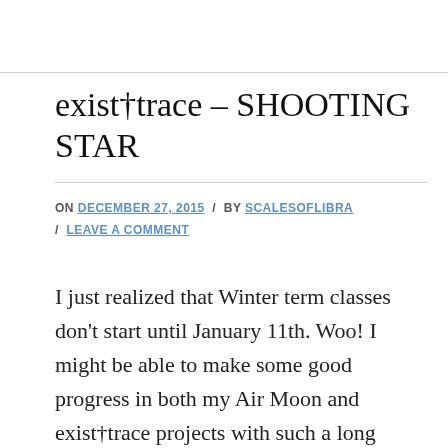exist†trace – SHOOTING STAR
ON DECEMBER 27, 2015 / BY SCALESOFLIBRA / LEAVE A COMMENT
I just realized that Winter term classes don't start until January 11th. Woo! I might be able to make some good progress in both my Air Moon and exist†trace projects with such a long break from school. So here's one from the latter, keeping on with World Maker. After the Japanese & romaji lyrics is…